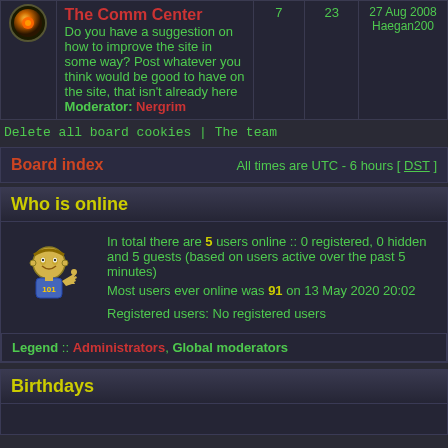| Icon | Forum | Posts | Topics | Last post |
| --- | --- | --- | --- | --- |
| [icon] | The Comm Center
Do you have a suggestion on how to improve the site in some way? Post whatever you think would be good to have on the site, that isn't already here
Moderator: Nergrim | 7 | 23 | 27 Aug 2008
Haegan200 |
Delete all board cookies | The team
Board index   All times are UTC - 6 hours [ DST ]
Who is online
In total there are 5 users online :: 0 registered, 0 hidden and 5 guests (based on users active over the past 5 minutes)
Most users ever online was 91 on 13 May 2020 20:02

Registered users: No registered users
Legend :: Administrators, Global moderators
Birthdays